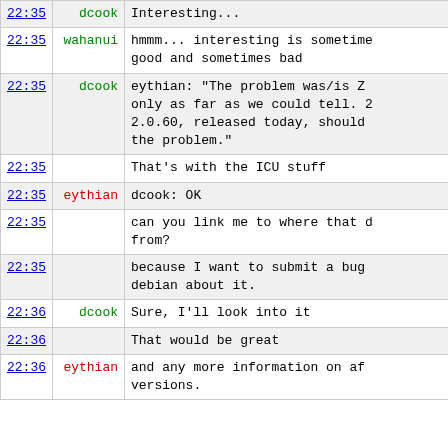| time | nick | message |
| --- | --- | --- |
| 22:35 | dcook | Interesting... |
| 22:35 | wahanui | hmmm... interesting is sometime good and sometimes bad |
| 22:35 | dcook | eythian: "The problem was/is Z only as far as we could tell. 2.0.60, released today, should the problem." |
| 22:35 |  | That's with the ICU stuff |
| 22:35 | eythian | dcook: OK |
| 22:35 |  | can you link me to where that c from? |
| 22:35 |  | because I want to submit a bug debian about it. |
| 22:36 | dcook | Sure, I'll look into it |
| 22:36 |  | That would be great |
| 22:36 | eythian | and any more information on af versions. |